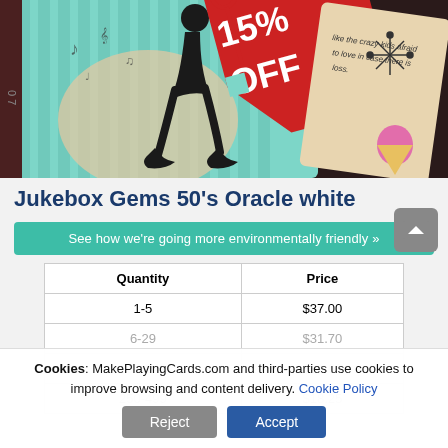[Figure (photo): Product promotional image showing playing cards with a 1950s retro style, featuring a large red '15% OFF' price tag, a card with a dancing woman and musical notes on teal background, and a card with handwritten text on cream background.]
Jukebox Gems 50's Oracle white
See how we're going more environmentally friendly »
| Quantity | Price |
| --- | --- |
| 1-5 | $37.00 |
| 6-29 | $31.70 |
| 100-249 | $21.60 |
| 250-499 | $18.25 |
Cookies: MakePlayingCards.com and third-parties use cookies to improve browsing and content delivery. Cookie Policy